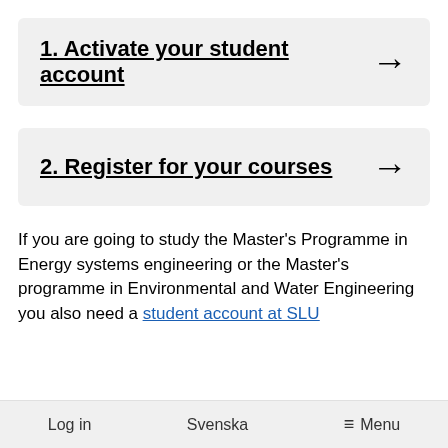1. Activate your student account →
2. Register for your courses →
If you are going to study the Master's Programme in Energy systems engineering or the Master's programme in Environmental and Water Engineering you also need a student account at SLU
Log in   Svenska   ☰ Menu